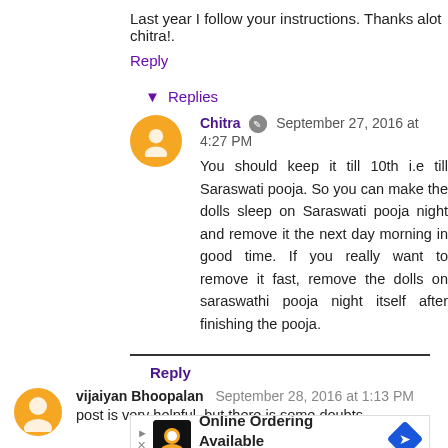Last year I follow your instructions. Thanks alot chitra!.
Reply
▾ Replies
Chitra ✎ September 27, 2016 at 4:27 PM
You should keep it till 10th i.e till Saraswati pooja. So you can make the dolls sleep on Saraswati pooja night and remove it the next day morning in good time. If you really want to remove it fast, remove the dolls on saraswathi pooja night itself after finishing the pooja.
Reply
vijaiyan Bhoopalan September 28, 2016 at 1:13 PM
post is very helpful. but there is some doubts
[Figure (other): Advertisement banner: Online Ordering Available - Crumbl Cookies - Ashburn]